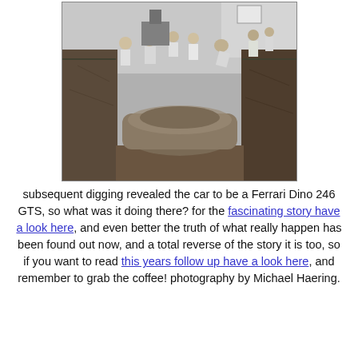[Figure (photo): Black and white photograph showing workers excavating a buried car (Ferrari Dino 246 GTS) from a narrow trench. Multiple people visible at the top, car covered in dirt, dirt walls on both sides.]
subsequent digging revealed the car to be a Ferrari Dino 246 GTS, so what was it doing there? for the fascinating story have a look here, and even better the truth of what really happen has been found out now, and a total reverse of the story it is too, so if you want to read this years follow up have a look here, and remember to grab the coffee! photography by Michael Haering.